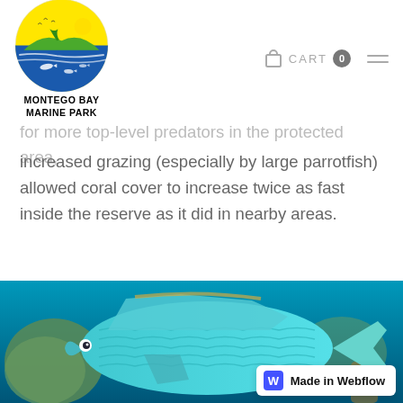[Figure (logo): Montego Bay Marine Park circular logo with yellow sun, green hills, blue water and white fish silhouettes. Text below reads MONTEGO BAY MARINE PARK.]
for more top-level predators in the protected area,
increased grazing (especially by large parrotfish) allowed coral cover to increase twice as fast inside the reserve as it did in nearby areas.
[Figure (photo): Underwater photograph of a large teal/blue parrotfish swimming near coral reef, vibrant turquoise coloring with scale pattern visible.]